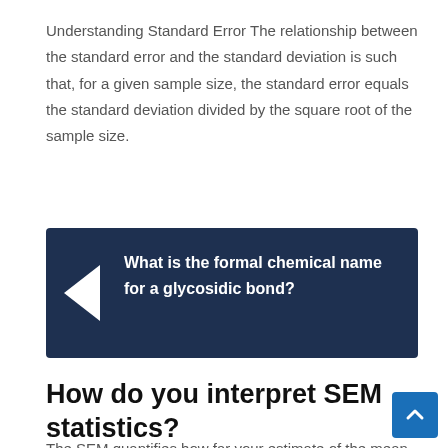Understanding Standard Error The relationship between the standard error and the standard deviation is such that, for a given sample size, the standard error equals the standard deviation divided by the square root of the sample size.
[Figure (infographic): Dark navy blue callout box with a white left-pointing triangle/arrow on the left side, containing bold white text asking 'What is the formal chemical name for a glycosidic bond?']
How do you interpret SEM statistics?
The SEM quantifies how far your estimate of the mean is likely to be from the true population mean. So smaller means more precise / accurate. In that sense, SEM=1.5 indicates that your sample